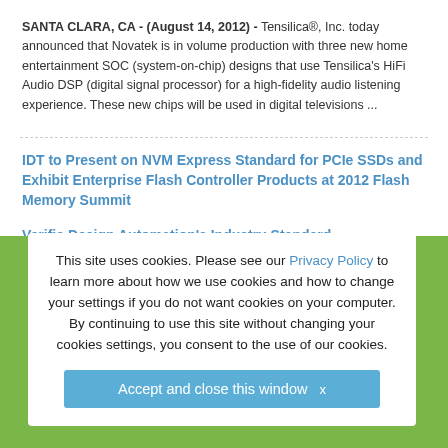SANTA CLARA, CA - (August 14, 2012) - Tensilica®, Inc. today announced that Novatek is in volume production with three new home entertainment SOC (system-on-chip) designs that use Tensilica's HiFi Audio DSP (digital signal processor) for a high-fidelity audio listening experience. These new chips will be used in digital televisions ...
IDT to Present on NVM Express Standard for PCIe SSDs and Exhibit Enterprise Flash Controller Products at 2012 Flash Memory Summit
Verific Design Automation's Industry-Standard SystemVerilog, VHDL Parsers Linked with Aldec's Hardware Emulation Solution
ARM certified technical support now available at Newark
This site uses cookies. Please see our Privacy Policy to learn more about how we use cookies and how to change your settings if you do not want cookies on your computer. By continuing to use this site without changing your cookies settings, you consent to the use of our cookies.
Accept and close this window  x